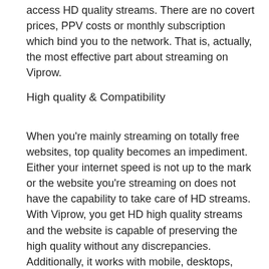access HD quality streams. There are no covert prices, PPV costs or monthly subscription which bind you to the network. That is, actually, the most effective part about streaming on Viprow.
High quality & Compatibility
When you're mainly streaming on totally free websites, top quality becomes an impediment. Either your internet speed is not up to the mark or the website you're streaming on does not have the capability to take care of HD streams. With Viprow, you get HD high quality streams and the website is capable of preserving the high quality without any discrepancies. Additionally, it works with mobile, desktops, laptop computers as well as tablet computers. Therefore, no matter the device, you're streaming from, compatibility won't be an issue.